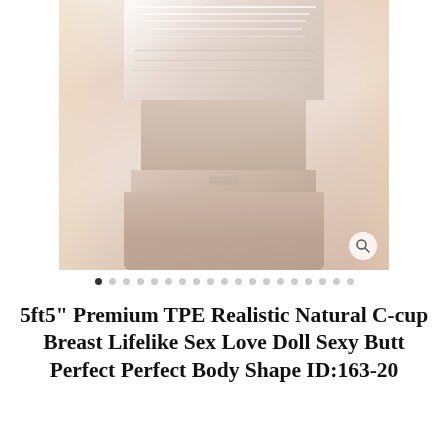[Figure (photo): Product photo of a mannequin/doll torso wearing white/cream colored lingerie or bodysuit, shown from neck to upper thighs, with a magnifying glass icon in the bottom right corner of the image.]
• • • • • • • • • • • • • • • • • • •
5ft5" Premium TPE Realistic Natural C-cup Breast Lifelike Sex Love Doll Sexy Butt Perfect Perfect Body Shape ID:163-20